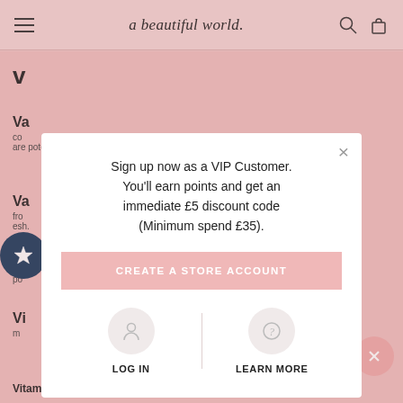a beautiful world.
V
Va
co ... are potent
Va
fro ... emony ... fresh.
Vi
po ... ntioxidant,
Vi
m ... rain
Vitamin C/Calcium...
Sign up now as a VIP Customer. You'll earn points and get an immediate £5 discount code (Minimum spend £35).
CREATE A STORE ACCOUNT
LOG IN
LEARN MORE